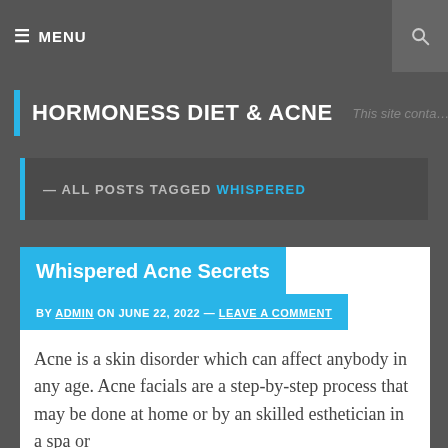≡ MENU
HORMONESS DIET & ACNE — This site conta…
— ALL POSTS TAGGED WHISPERED
Whispered Acne Secrets
BY ADMIN ON JUNE 22, 2022 — LEAVE A COMMENT
Acne is a skin disorder which can affect anybody in any age. Acne facials are a step-by-step process that may be done at home or by an skilled esthetician in a spa or